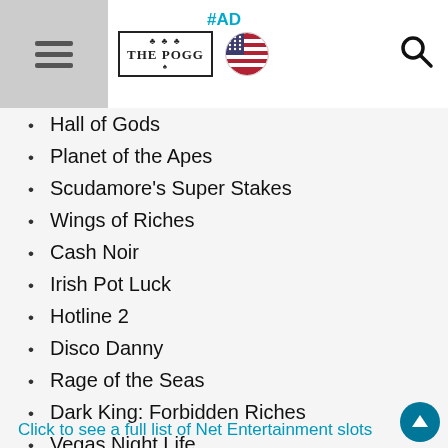THE POGG | #AD
Hall of Gods
Planet of the Apes
Scudamore's Super Stakes
Wings of Riches
Cash Noir
Irish Pot Luck
Hotline 2
Disco Danny
Rage of the Seas
Dark King: Forbidden Riches
Vegas Night Life
Twin Spin Megaways
Click to see a full list of Net Entertainment slots